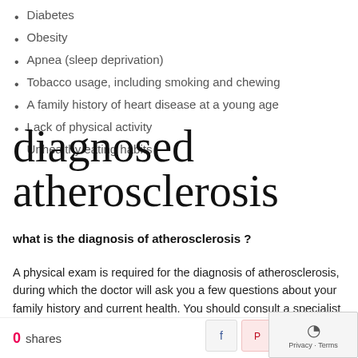Diabetes
Obesity
Apnea (sleep deprivation)
Tobacco usage, including smoking and chewing
A family history of heart disease at a young age
Lack of physical activity
Unhealthy eating habits
diagnosed atherosclerosis
what is the diagnosis of atherosclerosis ?
A physical exam is required for the diagnosis of atherosclerosis, during which the doctor will ask you a few questions about your family history and current health. You should consult a specialist who
0 shares